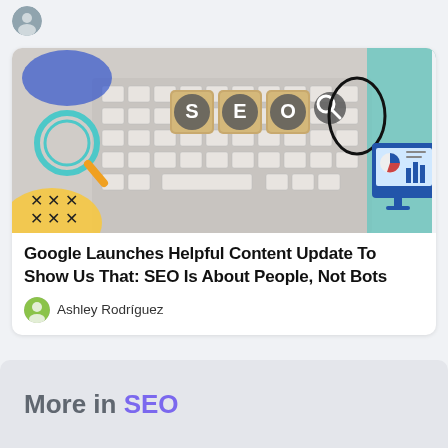[Figure (photo): Small circular avatar image in the top left corner]
[Figure (illustration): SEO themed banner image showing wooden letter blocks spelling out SEO on a keyboard, combined with illustrated elements including a magnifying glass, analytics dashboard, and decorative shapes in blue, yellow, and teal colors]
Google Launches Helpful Content Update To Show Us That: SEO Is About People, Not Bots
Ashley Rodríguez
More in SEO